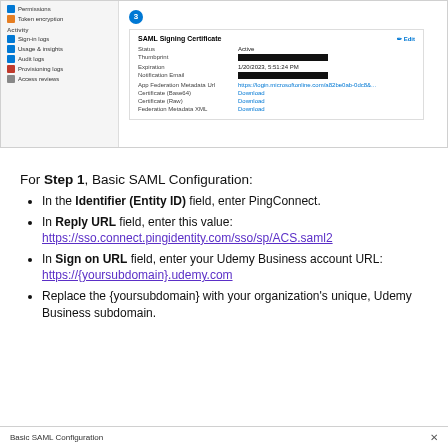[Figure (screenshot): Azure AD sidebar navigation showing Permissions, Token encryption, Activity section with Sign-in logs, Usage & insights, Audit logs, Provisioning logs, Access reviews. Main panel shows SAML Signing Certificate with Status: Active, Thumbprint (redacted), Expiration: 1/20/2023 5:51:24 PM, Notification Email (redacted), App Federation Metadata URL, Certificate (Base64) Download, Certificate (Raw) Download, Federation Metadata XML Download.]
For Step 1, Basic SAML Configuration:
In the Identifier (Entity ID) field, enter PingConnect.
In Reply URL field, enter this value: https://sso.connect.pingidentity.com/sso/sp/ACS.saml2
In Sign on URL field, enter your Udemy Business account URL: https://{yoursubdomain}.udemy.com
Replace the {yoursubdomain} with your organization's unique, Udemy Business subdomain.
[Figure (screenshot): Bottom bar showing 'Basic SAML Configuration' panel header with X close button.]